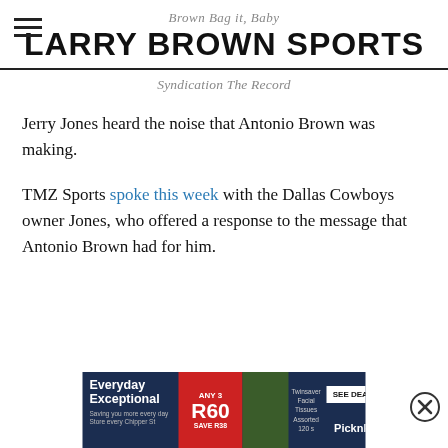Brown Bag it, Baby
LARRY BROWN SPORTS
Syndication The Record
Jerry Jones heard the noise that Antonio Brown was making.
TMZ Sports spoke this week with the Dallas Cowboys owner Jones, who offered a response to the message that Antonio Brown had for him.
[Figure (other): Advertisement banner for Pick n Pay featuring Everyday Exceptional savings promotion with ANY 3 for R60, SAVE R38, and SEE DEALS button]